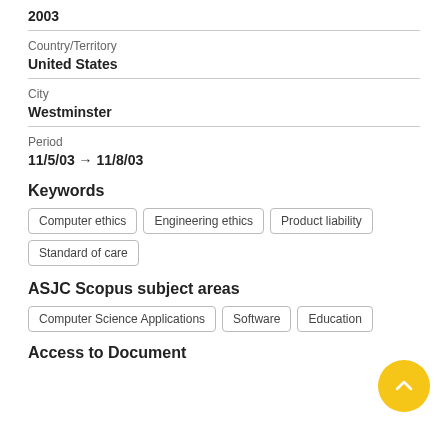2003
Country/Territory
United States
City
Westminster
Period
11/5/03 → 11/8/03
Keywords
Computer ethics
Engineering ethics
Product liability
Standard of care
ASJC Scopus subject areas
Computer Science Applications
Software
Education
Access to Document